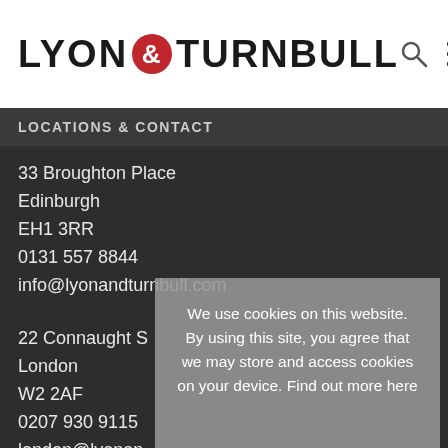LYON & TURNBULL
LOCATIONS & CONTACT
33 Broughton Place
Edinburgh
EH1 3RR
0131 557 8844
info@lyonandturnbull.com
22 Connaught S
London
W2 2AF
0207 930 9115
london@lyonan
182 Bath Stree
Glasgow
We use cookies on this website. By using this site, you agree that we may store and access cookies on your device. Find out more here

OK